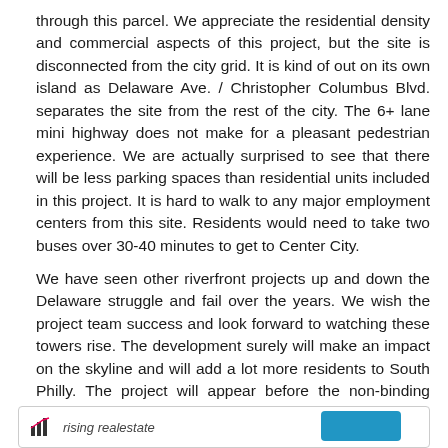through this parcel. We appreciate the residential density and commercial aspects of this project, but the site is disconnected from the city grid. It is kind of out on its own island as Delaware Ave. / Christopher Columbus Blvd. separates the site from the rest of the city. The 6+ lane mini highway does not make for a pleasant pedestrian experience. We are actually surprised to see that there will be less parking spaces than residential units included in this project. It is hard to walk to any major employment centers from this site. Residents would need to take two buses over 30-40 minutes to get to Center City.
We have seen other riverfront projects up and down the Delaware struggle and fail over the years. We wish the project team success and look forward to watching these towers rise. The development surely will make an impact on the skyline and will add a lot more residents to South Philly. The project will appear before the non-binding Civic Design Review (CDR) on May 7th.
[Figure (other): Footer bar with a rising real estate logo/text on the left and a blue button on the right]